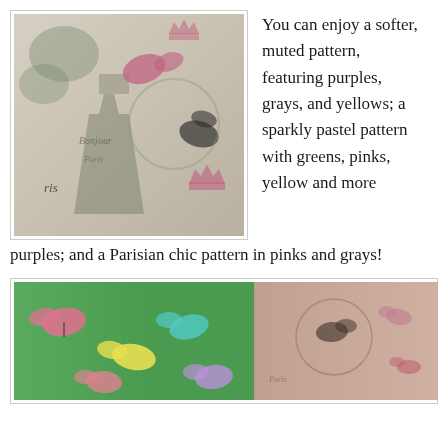[Figure (photo): Close-up photo of fabric with a Parisian-themed pattern featuring butterflies, Eiffel Tower, crowns, and cursive script in muted pinks, greens, and grays.]
You can enjoy a softer, muted pattern, featuring purples, grays, and yellows; a sparkly pastel pattern with greens, pinks, yellow and more purples; and a Parisian chic pattern in pinks and grays!
[Figure (photo): Photo showing two fabric patterns side by side: left side is a bright green fabric with colorful butterflies in pink, yellow, and teal; right side is a pink/beige fabric with butterflies and Parisian chic motifs.]